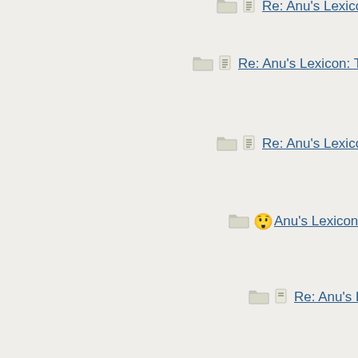Re: Anu's Lexicon: Thursd...
Re: Anu's Lexicon: The...
Re: Anu's Lexicon: Th...
Anu's Lexicon: Blue M...
Re: Anu's Lexicon:...
Re: Anu's Lexico...
Anu's Lexicon:...
Re: Anu's Le...
Re: Anu's...
Re: Anu...
Re: A...
Re:...